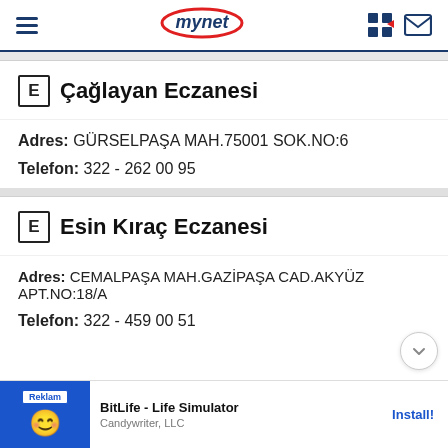mynet
E Çağlayan Eczanesi
Adres: GÜRSELPAŞA MAH.75001 SOK.NO:6
Telefon: 322 - 262 00 95
E Esin Kıraç Eczanesi
Adres: CEMALPAŞA MAH.GAZİPAŞA CAD.AKYÜZ APT.NO:18/A
Telefon: 322 - 459 00 51
[Figure (screenshot): BitLife - Life Simulator advertisement by Candywriter, LLC with Install button]